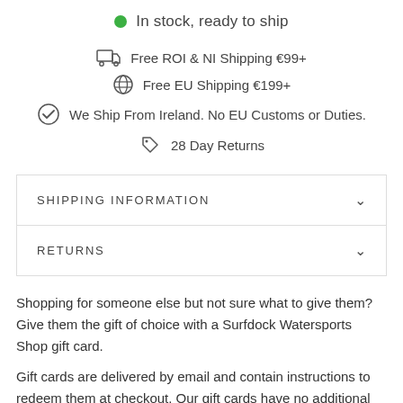In stock, ready to ship
Free ROI & NI Shipping €99+
Free EU Shipping €199+
We Ship From Ireland. No EU Customs or Duties.
28 Day Returns
SHIPPING INFORMATION
RETURNS
Shopping for someone else but not sure what to give them? Give them the gift of choice with a Surfdock Watersports Shop gift card.
Gift cards are delivered by email and contain instructions to redeem them at checkout. Our gift cards have no additional